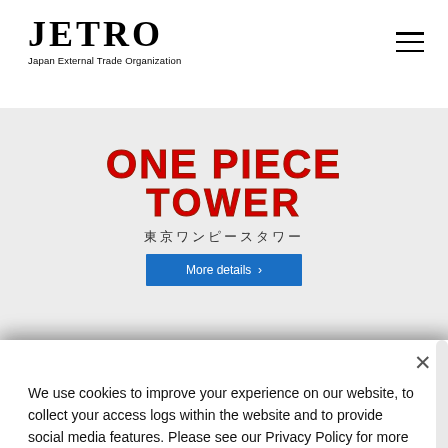[Figure (logo): JETRO logo with wordmark 'JETRO' and subtitle 'Japan External Trade Organization']
[Figure (logo): One Piece Tower logo with Japanese text 東京ワンピースタワー and a More details button]
We use cookies to improve your experience on our website, to collect your access logs within the website and to provide social media features. Please see our Privacy Policy for more information.
Privacy Policy of JETRO Website